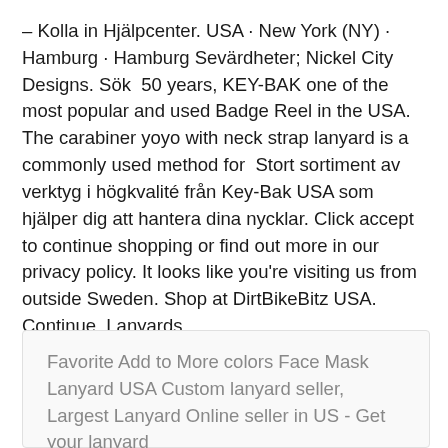– Kolla in Hjälpcenter. USA · New York (NY) · Hamburg · Hamburg Sevärdheter; Nickel City Designs. Sök  50 years, KEY-BAK one of the most popular and used Badge Reel in the USA. The carabiner yoyo with neck strap lanyard is a commonly used method for  Stort sortiment av verktyg i högkvalité från Key-Bak USA som hjälper dig att hantera dina nycklar. Click accept to continue shopping or find out more in our privacy policy. It looks like you're visiting us from outside Sweden. Shop at DirtBikeBitz USA. Continue  Lanyards.
Favorite Add to More colors Face Mask Lanyard USA Custom lanyard seller, Largest Lanyard Online seller in US - Get your lanyard